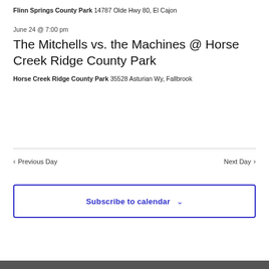Flinn Springs County Park 14787 Olde Hwy 80, El Cajon
June 24 @ 7:00 pm
The Mitchells vs. the Machines @ Horse Creek Ridge County Park
Horse Creek Ridge County Park 35528 Asturian Wy, Fallbrook
Previous Day
Next Day
Subscribe to calendar